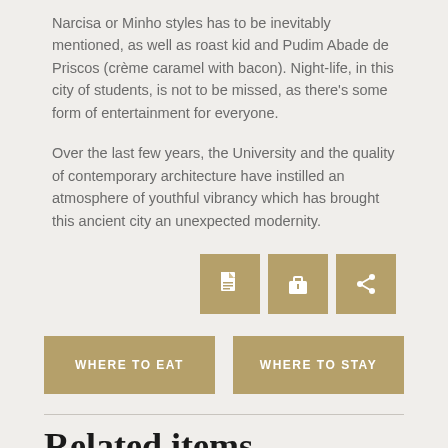Narcisa or Minho styles has to be inevitably mentioned, as well as roast kid and Pudim Abade de Priscos (crème caramel with bacon). Night-life, in this city of students, is not to be missed, as there's some form of entertainment for everyone.
Over the last few years, the University and the quality of contemporary architecture have instilled an atmosphere of youthful vibrancy which has brought this ancient city an unexpected modernity.
[Figure (other): Three square icon buttons in golden/tan color: a document icon, a briefcase icon, and a share icon]
WHERE TO EAT
WHERE TO STAY
Related items